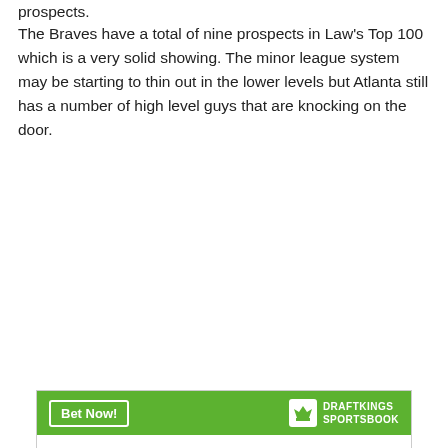prospects.
The Braves have a total of nine prospects in Law's Top 100 which is a very solid showing. The minor league system may be starting to thin out in the lower levels but Atlanta still has a number of high level guys that are knocking on the door.
| Matt Olson |  |
| --- | --- |
| O/U Total Home Runs (vs. HOU) | 0.5 |
| O/U Total Hits (vs. HOU) | 0.5 |
| O/U Total Singles (vs. HOU) | 0.5 |